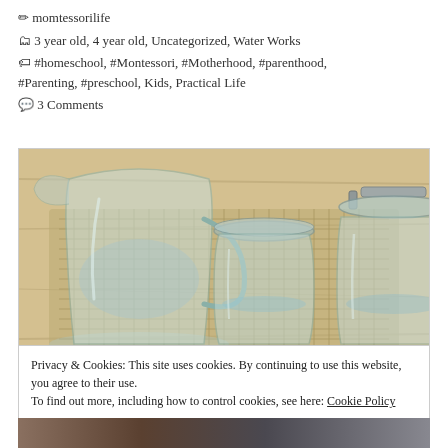✏ momtessorilife
🗂 3 year old, 4 year old, Uncategorized, Water Works
🏷 #homeschool, #Montessori, #Motherhood, #parenthood, #Parenting, #preschool, Kids, Practical Life
💬 3 Comments
[Figure (photo): Glass pitchers and jars with water on a wooden tray on a light wood surface — Montessori water works activity setup]
Privacy & Cookies: This site uses cookies. By continuing to use this website, you agree to their use.
To find out more, including how to control cookies, see here: Cookie Policy
Close and accept
[Figure (photo): Partial bottom strip image, partially visible at bottom of page]